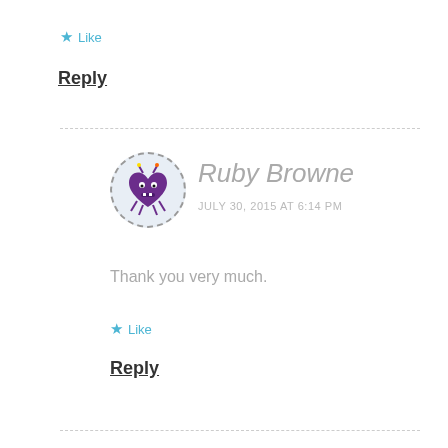★ Like
Reply
[Figure (illustration): Avatar circle with dashed border showing a purple heart monster character illustration]
Ruby Browne
JULY 30, 2015 AT 6:14 PM
Thank you very much.
★ Like
Reply